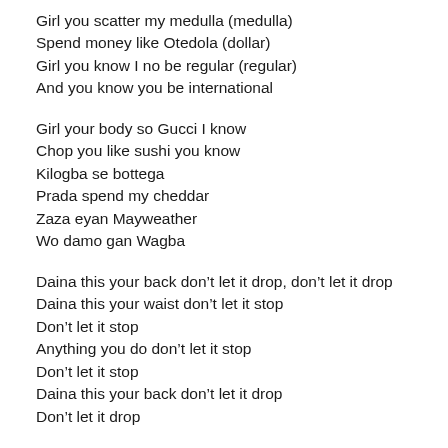Girl you scatter my medulla (medulla)
Spend money like Otedola (dollar)
Girl you know I no be regular (regular)
And you know you be international
Girl your body so Gucci I know
Chop you like sushi you know
Kilogba se bottega
Prada spend my cheddar
Zaza eyan Mayweather
Wo damo gan Wagba
Daina this your back don’t let it drop, don’t let it drop
Daina this your waist don’t let it stop
Don’t let it stop
Anything you do don’t let it stop
Don’t let it stop
Daina this your back don’t let it drop
Don’t let it drop